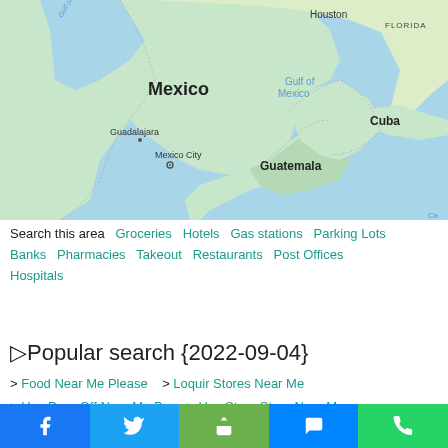[Figure (map): Google Maps view showing Mexico, Gulf of Mexico, Gulf of California, Houston, Florida, Cuba, Guadalajara, Mexico City, and Guatemala labeled on a political map with green land and blue water.]
Search this area  Groceries  Hotels  Gas stations  Parking Lots  Banks  Pharmacies  Takeout  Restaurants  Post Offices  Hospitals
▷Popular search {2022-09-04}
> Food Near Me Please   > Loquir Stores Near Me  > Ups Drop Off Near Me Box   > Ups Store Store Near Me